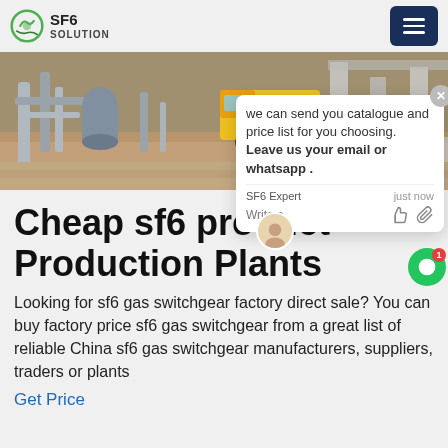SF6 SOLUTION
[Figure (photo): Industrial facility with yellow truck, pipes, and concrete structures in an outdoor setting]
Cheap sf6 product Production Plants
Looking for sf6 gas switchgear factory direct sale? You can buy factory price sf6 gas switchgear from a great list of reliable China sf6 gas switchgear manufacturers, suppliers, traders or plants
Get Price